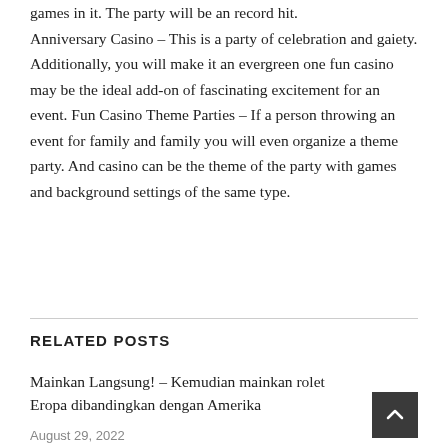games in it. The party will be an record hit. Anniversary Casino – This is a party of celebration and gaiety. Additionally, you will make it an evergreen one fun casino may be the ideal add-on of fascinating excitement for an event. Fun Casino Theme Parties – If a person throwing an event for family and family you will even organize a theme party. And casino can be the theme of the party with games and background settings of the same type.
RELATED POSTS
Mainkan Langsung! – Kemudian mainkan rolet Eropa dibandingkan dengan Amerika
August 29, 2022